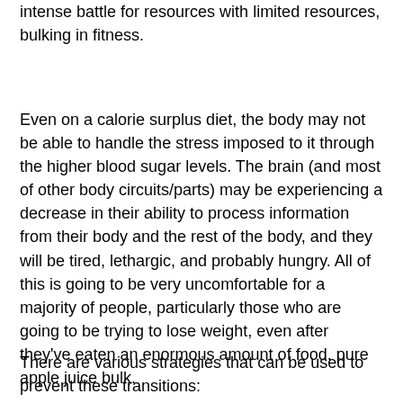intense battle for resources with limited resources, bulking in fitness.
Even on a calorie surplus diet, the body may not be able to handle the stress imposed to it through the higher blood sugar levels. The brain (and most of other body circuits/parts) may be experiencing a decrease in their ability to process information from their body and the rest of the body, and they will be tired, lethargic, and probably hungry. All of this is going to be very uncomfortable for a majority of people, particularly those who are going to be trying to lose weight, even after they've eaten an enormous amount of food, pure apple juice bulk.
There are various strategies that can be used to prevent these transitions: